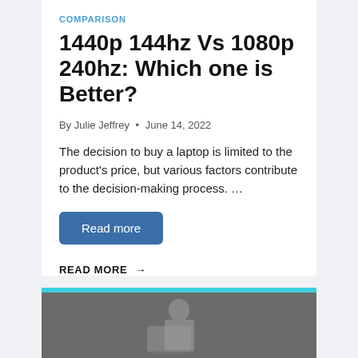COMPARISON
1440p 144hz Vs 1080p 240hz: Which one is Better?
By Julie Jeffrey • June 14, 2022
The decision to buy a laptop is limited to the product's price, but various factors contribute to the decision-making process. …
Read more
READ MORE →
[Figure (photo): Bottom card with cyan top bar and partial photo of a person/device, dark gray background]